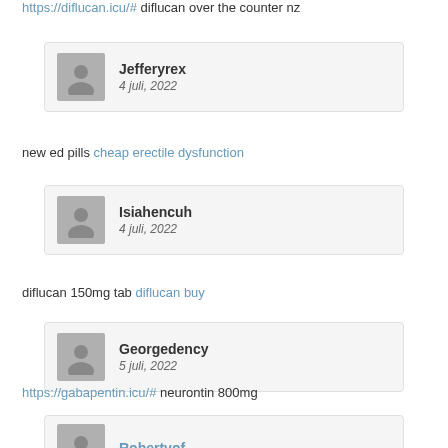https://diflucan.icu/# diflucan over the counter nz
Jefferyrex — 4 juli, 2022
new ed pills cheap erectile dysfunction
Isiahencuh — 4 juli, 2022
diflucan 150mg tab diflucan buy
Georgedency — 5 juli, 2022
https://gabapentin.icu/# neurontin 800mg
Robertvof